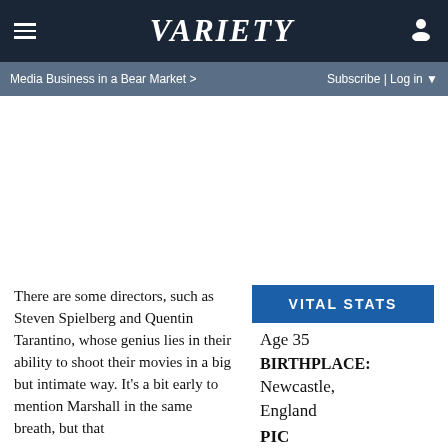≡  VARIETY  👤
Media Business in a Bear Market >  Subscribe | Log in ▼
There are some directors, such as Steven Spielberg and Quentin Tarantino, whose genius lies in their ability to shoot their movies in a big but intimate way. It's a bit early to mention Marshall in the same breath, but that
VITAL STATS
Age 35
BIRTHPLACE:
Newcastle, England
PIC